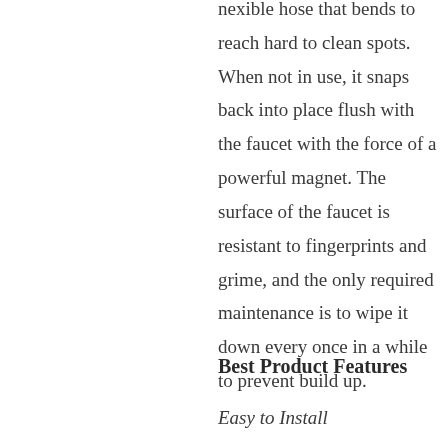nexible hose that bends to reach hard to clean spots. When not in use, it snaps back into place flush with the faucet with the force of a powerful magnet. The surface of the faucet is resistant to fingerprints and grime, and the only required maintenance is to wipe it down every once in a while to prevent build up.
Best Product Features
Easy to Install